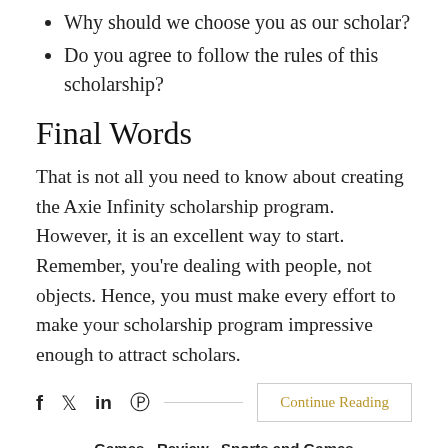Why should we choose you as our scholar?
Do you agree to follow the rules of this scholarship?
Final Words
That is not all you need to know about creating the Axie Infinity scholarship program. However, it is an excellent way to start. Remember, you're dealing with people, not objects. Hence, you must make every effort to make your scholarship program impressive enough to attract scholars.
f   𝕏   in   ⊕   Continue Reading
Games , Review , Sports and Games
This is how NFT games work